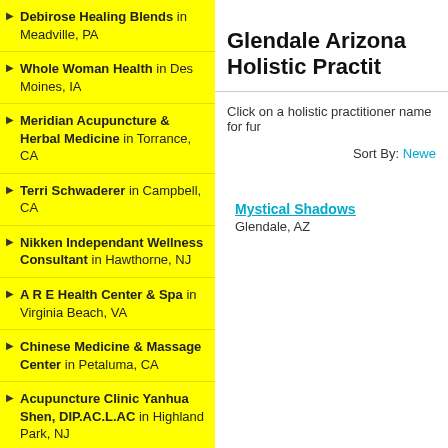Debirose Healing Blends in Meadville, PA
Whole Woman Health in Des Moines, IA
Meridian Acupuncture & Herbal Medicine in Torrance, CA
Terri Schwaderer in Campbell, CA
Nikken Independant Wellness Consultant in Hawthorne, NJ
A R E Health Center & Spa in Virginia Beach, VA
Chinese Medicine & Massage Center in Petaluma, CA
Acupuncture Clinic Yanhua Shen, DIP.AC.L.AC in Highland Park, NJ
Hanan Zaman in Dryden, NY
Access Health Facilities in Solana Beach, CA
All About Pets Inc - Jeanne R Fowler DVM in Travelers Rest, SC
Glendale Arizona Holistic Practit...
Click on a holistic practitioner name for fur...
Sort By: Newe...
Mystical Shadows
Glendale, AZ